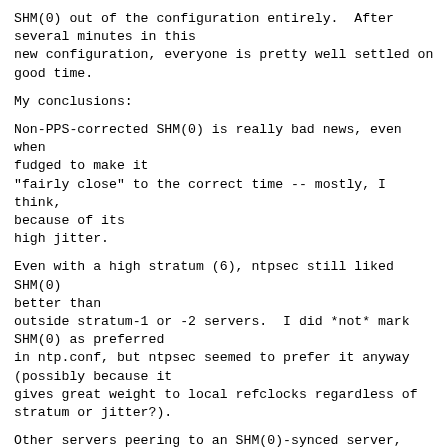SHM(0) out of the configuration entirely.  After several minutes in this
new configuration, everyone is pretty well settled on good time.
My conclusions:
Non-PPS-corrected SHM(0) is really bad news, even when fudged to make it
"fairly close" to the correct time -- mostly, I think, because of its
high jitter.
Even with a high stratum (6), ntpsec still liked SHM(0) better than
outside stratum-1 or -2 servers.  I did *not* mark SHM(0) as preferred
in ntp.conf, but ntpsec seemed to prefer it anyway (possibly because it
gives great weight to local refclocks regardless of stratum or jitter?).
Other servers peering to an SHM(0)-synced server, marked in their
configurations as preferred, hung on to it even though it was at a high
stratum and ignored multiple external stratum-1 / stratum-2 servers.
If I were to lose my good GPS signal, my home network